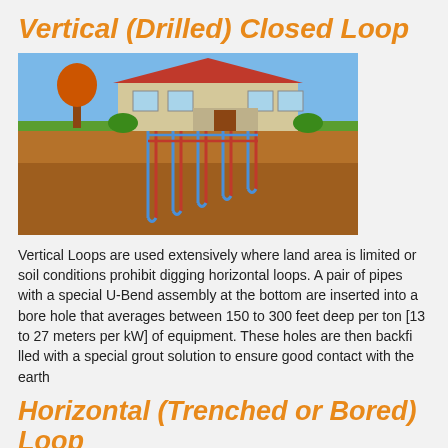Vertical (Drilled) Closed Loop
[Figure (illustration): Diagram showing a vertical closed loop geothermal system with a house on the surface and pipes drilled vertically into the ground with U-bend assemblies, shown in cross-section with blue and red pipe loops going deep into the earth]
Vertical Loops are used extensively where land area is limited or soil conditions prohibit digging horizontal loops. A pair of pipes with a special U-Bend assembly at the bottom are inserted into a bore hole that averages between 150 to 300 feet deep per ton [13 to 27 meters per kW] of equipment. These holes are then backfilled with a special grout solution to ensure good contact with the earth
Horizontal (Trenched or Bored) Loop